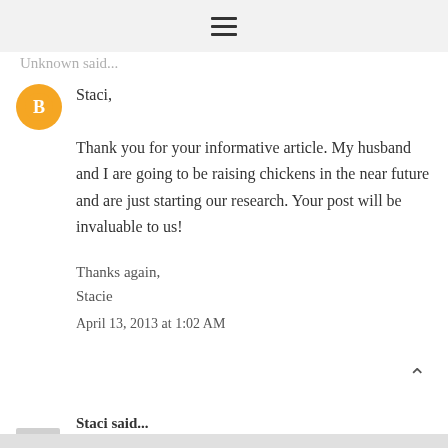≡
Unknown said...
[Figure (illustration): Orange circular Blogger user avatar icon with white blogger 'B' logo]
Staci,

Thank you for your informative article. My husband and I are going to be raising chickens in the near future and are just starting our research. Your post will be invaluable to us!

Thanks again,
Stacie

April 13, 2013 at 1:02 AM
Staci said...